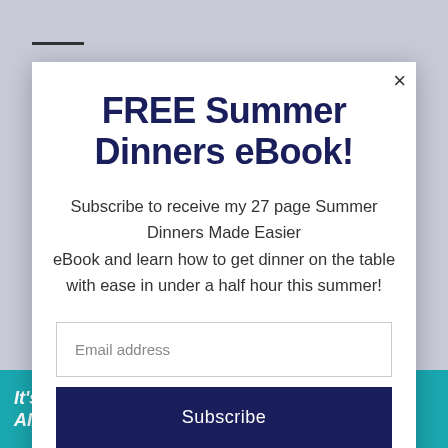FREE Summer Dinners eBook!
Subscribe to receive my 27 page Summer Dinners Made Easier eBook and learn how to get dinner on the table with ease in under a half hour this summer!
Email address
Subscribe
It's time to talk about Alzheimer's.